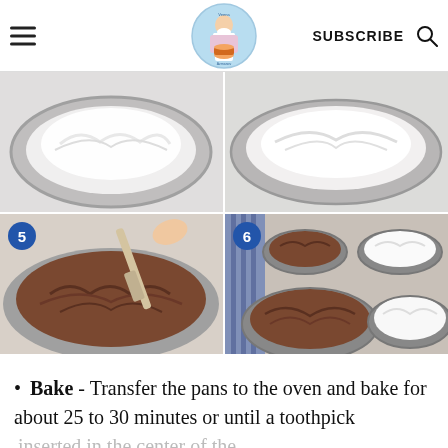Veena Azmanov blog header with logo, SUBSCRIBE, and search icon
[Figure (photo): Step 5: Chocolate cake batter being stirred in a round pan with a spatula. Step 6: Multiple round cake pans filled with chocolate and white batter viewed from above.]
Bake - Transfer the pans to the oven and bake for about 25 to 30 minutes or until a toothpick inserted in the center of the